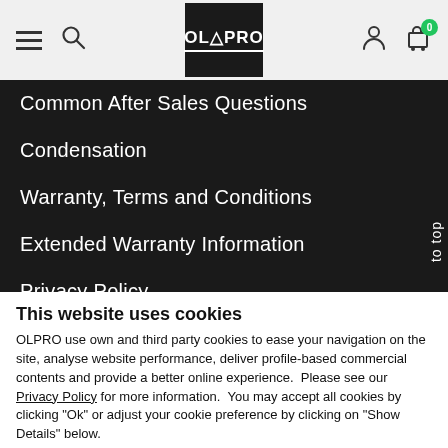[Figure (screenshot): OLPRO website header with hamburger menu, search icon, OLPRO logo, user icon and cart icon with badge showing 0]
Common After Sales Questions
Condensation
Warranty, Terms and Conditions
Extended Warranty Information
Privacy Policy
Terms of Service
Cookie Preferences
This website uses cookies
OLPRO use own and third party cookies to ease your navigation on the site, analyse website performance, deliver profile-based commercial contents and provide a better online experience.  Please see our Privacy Policy for more information.  You may accept all cookies by clicking "Ok" or adjust your cookie preference by clicking on "Show Details" below.
OK
English >